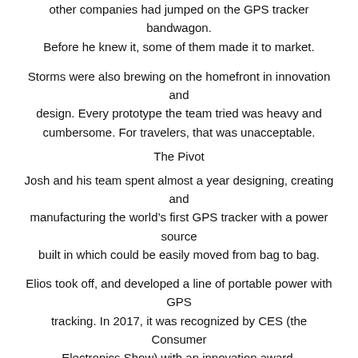other companies had jumped on the GPS tracker bandwagon. Before he knew it, some of them made it to market.
Storms were also brewing on the homefront in innovation and design. Every prototype the team tried was heavy and cumbersome. For travelers, that was unacceptable.
The Pivot
Josh and his team spent almost a year designing, creating and manufacturing the world’s first GPS tracker with a power source built in which could be easily moved from bag to bag.
Elios took off, and developed a line of portable power with GPS tracking. In 2017, it was recognized by CES (the Consumer Electronics Show) with an innovation award.